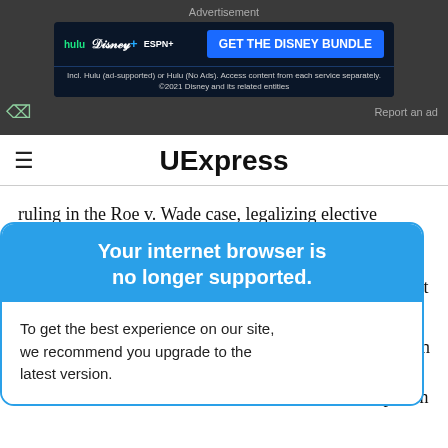[Figure (screenshot): Disney Bundle advertisement banner with Hulu, Disney+, ESPN+ logos and 'GET THE DISNEY BUNDLE' button on dark background]
Report an ad
UExpress
ruling in the Roe v. Wade case, legalizing elective abortion nationwide.
[Figure (screenshot): Browser warning modal: 'Your internet browser is no longer supported. To get the best experience on our site, we recommend you upgrade to the latest version.']
med as the first
leaded guilty in
to life in prison
without parole.